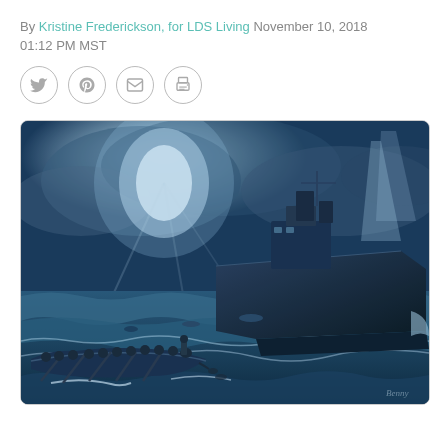By Kristine Frederickson, for LDS Living November 10, 2018 01:12 PM MST
[Figure (other): Social media sharing icons: Twitter, Pinterest, Email, Print — each in a circle outline]
[Figure (illustration): A dramatic oil painting in blue tones depicting a WWII naval scene: a large military destroyer ship on rough seas at night, with a bright light (possibly flare or searchlight) illuminating stormy clouds. In the foreground, a lifeboat filled with sailors rows away from the ship. Several people appear to be in the water. The scene conveys a rescue operation in turbulent conditions.]